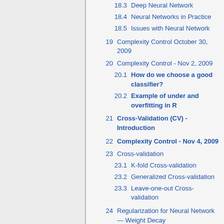18.3 Deep Neural Network
18.4 Neural Networks in Practice
18.5 Issues with Neural Network
19 Complexity Control October 30, 2009
20 Complexity Control - Nov 2, 2009
20.1 How do we choose a good classifier?
20.2 Example of under and overfitting in R
21 Cross-Validation (CV) - Introduction
22 Complexity Control - Nov 4, 2009
23 Cross-validation
23.1 K-fold Cross-validation
23.2 Generalized Cross-validation
23.3 Leave-one-out Cross-validation
24 Regularization for Neural Network — Weight Decay